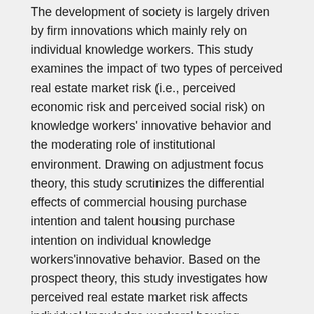The development of society is largely driven by firm innovations which mainly rely on individual knowledge workers. This study examines the impact of two types of perceived real estate market risk (i.e., perceived economic risk and perceived social risk) on knowledge workers' innovative behavior and the moderating role of institutional environment. Drawing on adjustment focus theory, this study scrutinizes the differential effects of commercial housing purchase intention and talent housing purchase intention on individual knowledge workers'innovative behavior. Based on the prospect theory, this study investigates how perceived real estate market risk affects individual knowledge workers' housing purchase intention. As the real estate market is regulated by the government, the influence of the institutional environment on perceived real estate market risk is obvious according to institutional theory. Therefore, this study further examines the moderating effect of institutional environment on the relationship between perceived real estate market risk and purchase intention.